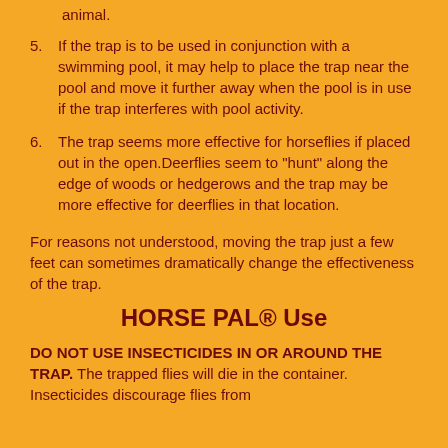animal.
5. If the trap is to be used in conjunction with a swimming pool, it may help to place the trap near the pool and move it further away when the pool is in use if the trap interferes with pool activity.
6. The trap seems more effective for horseflies if placed out in the open.Deerflies seem to "hunt" along the edge of woods or hedgerows and the trap may be more effective for deerflies in that location.
For reasons not understood, moving the trap just a few feet can sometimes dramatically change the effectiveness of the trap.
HORSE PAL® Use
DO NOT USE INSECTICIDES IN OR AROUND THE TRAP. The trapped flies will die in the container. Insecticides discourage flies from